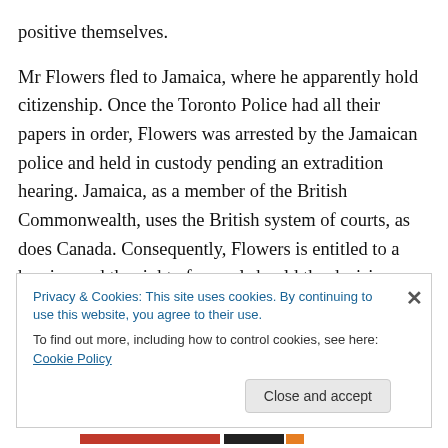positive themselves.

Mr Flowers fled to Jamaica, where he apparently hold citizenship. Once the Toronto Police had all their papers in order, Flowers was arrested by the Jamaican police and held in custody pending an extradition hearing. Jamaica, as a member of the British Commonwealth, uses the British system of courts, as does Canada. Consequently, Flowers is entitled to a hearing and the right of appeal should the decision go against him. At the time of writing, he is still in a Jamaican jail awaiting his last appeal, all
Privacy & Cookies: This site uses cookies. By continuing to use this website, you agree to their use.
To find out more, including how to control cookies, see here: Cookie Policy
Close and accept